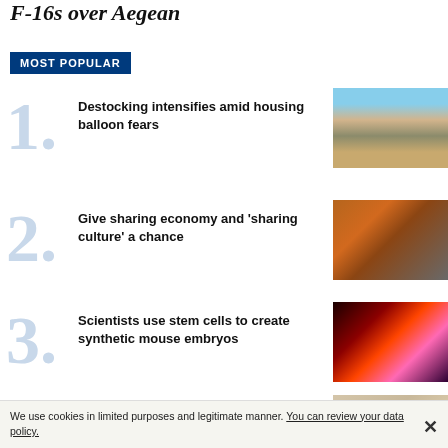F-16s over Aegean
MOST POPULAR
Destocking intensifies amid housing balloon fears
Give sharing economy and ‘sharing culture’ a chance
Scientists use stem cells to create synthetic mouse embryos
Thousands throng to Iran museum with
We use cookies in limited purposes and legitimate manner. You can review your data policy.